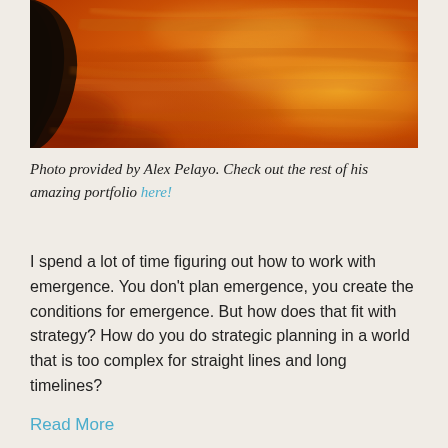[Figure (illustration): Abstract painting with warm orange, red, and golden tones with a dark curved shape in the upper left corner, suggesting a flame or abstract figure against a fiery background. Artwork by Alex Pelayo.]
Photo provided by Alex Pelayo. Check out the rest of his amazing portfolio here!
I spend a lot of time figuring out how to work with emergence.  You don't plan emergence, you create the conditions for emergence.  But how does that fit with strategy?  How do you do strategic planning in a world that is too complex for straight lines and long timelines?
Read More